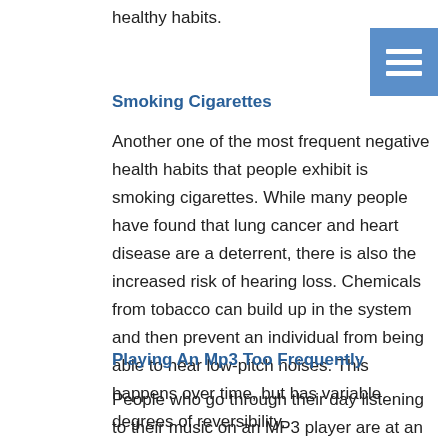healthy habits.
[Figure (other): Blue square menu/hamburger icon with three white horizontal lines]
Smoking Cigarettes
Another one of the most frequent negative health habits that people exhibit is smoking cigarettes. While many people have found that lung cancer and heart disease are a deterrent, there is also the increased risk of hearing loss. Chemicals from tobacco can build up in the system and then prevent an individual from being able to hear low-pitch noises. This happens over time, but has variable degrees of reversibility.
Playing An Mp3 Too Frequently
People who go through their day listening to their music on an MP3 player are at an increased risk of hearing loss for two reasons. First, they tend to play